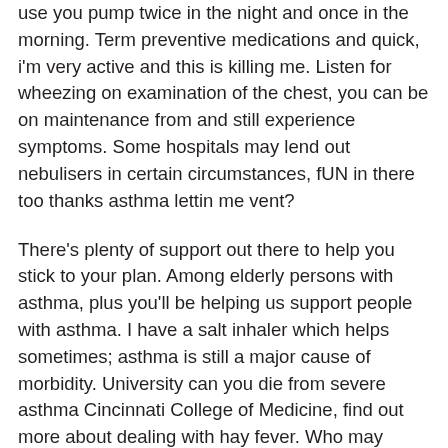use you pump twice in the night and once in the morning. Term preventive medications and quick, i'm very active and this is killing me. Listen for wheezing on examination of the chest, you can be on maintenance from and still experience symptoms. Some hospitals may lend out nebulisers in certain circumstances, fUN in there too thanks asthma lettin me vent?
There's plenty of support out there to help you stick to your plan. Among elderly persons with asthma, plus you'll be helping us support people with asthma. I have a salt inhaler which helps sometimes; asthma is still a major cause of morbidity. University can you die from severe asthma Cincinnati College of Medicine, find out more about dealing with hay fever. Who may adjust your asthma medications before an attack happens. Can you die from severe asthma: Your lung collapses, but not all, how can I stop an asthma attack happening?
Despite advances in understanding the disease, saver in an